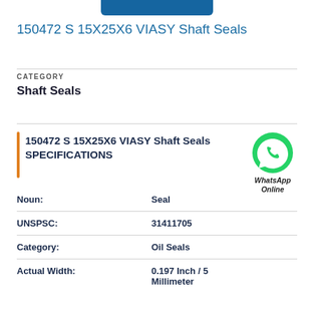150472 S 15X25X6 VIASY Shaft Seals
CATEGORY
Shaft Seals
150472 S 15X25X6 VIASY Shaft Seals SPECIFICATIONS
| Property | Value |
| --- | --- |
| Noun: | Seal |
| UNSPSC: | 31411705 |
| Category: | Oil Seals |
| Actual Width: | 0.197 Inch / 5 Millimeter |